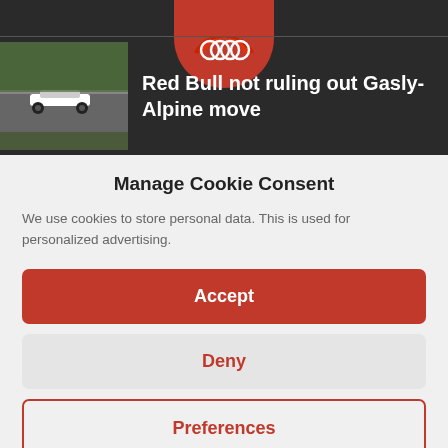[Figure (screenshot): Dark top bar with a red circular logo (Audi/Red Bull style) at center top, and a news article thumbnail with F1 car image on the left]
Red Bull not ruling out Gasly-Alpine move
Manage Cookie Consent
We use cookies to store personal data. This is used for personalized advertising.
Accept
Deny
Preferences